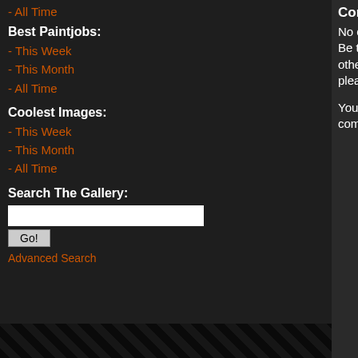- All Time
Best Paintjobs:
- This Week
- This Month
- All Time
Coolest Images:
- This Week
- This Month
- All Time
Search The Gallery:
Go!
Advanced Search
Comments:
No comments have been added yet. Be the first! People love to hear what others think about their projects so please let them know.
You must be logged in to post comments.
<a href='https://www
Dakka Articles:
--Gallery:2012/5/25/
oEmbed (json):
https://www.dakkad
Facebook:
Share on facebook
Twitter:
Share on Twitter
Reddit:
Share on Reddit
Image Details:
Resolution:
Uploaded:
Exposure Time:
F-number:
File Source:
Flash: